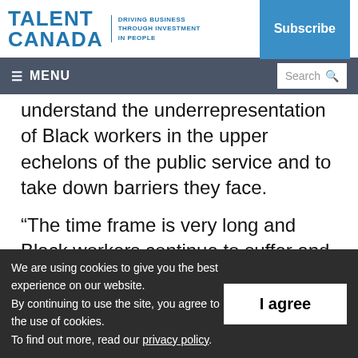TALENT CANADA | DRIVING BUSINESS THROUGH INVESTMENT IN PEOPLE | Subscribe
≡ MENU | Search
understand the underrepresentation of Black workers in the upper echelons of the public service and to take down barriers they face.
“The time frame is very long and Black workers continue to suffer and show up to work injured every day,” he said.
We are using cookies to give you the best experience on our website. By continuing to use the site, you agree to the use of cookies. To find out more, read our privacy policy.